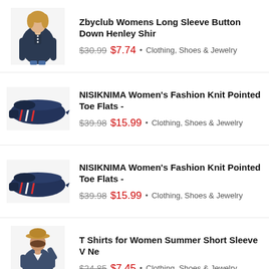[Figure (photo): Woman wearing navy blue long sleeve henley shirt]
Zbyclub Womens Long Sleeve Button Down Henley Shir
$30.99  $7.74 • Clothing, Shoes & Jewelry
[Figure (photo): Navy blue knit pointed toe flat shoe with stripe detail]
NISIKNIMA Women's Fashion Knit Pointed Toe Flats -
$39.98  $15.99 • Clothing, Shoes & Jewelry
[Figure (photo): Navy blue knit pointed toe flat shoe with stripe detail]
NISIKNIMA Women's Fashion Knit Pointed Toe Flats -
$39.98  $15.99 • Clothing, Shoes & Jewelry
[Figure (photo): Woman wearing navy blue short sleeve V-neck t-shirt with hat]
T Shirts for Women Summer Short Sleeve V Ne
$24.85  $7.45 • Clothing, Shoes & Jewelry